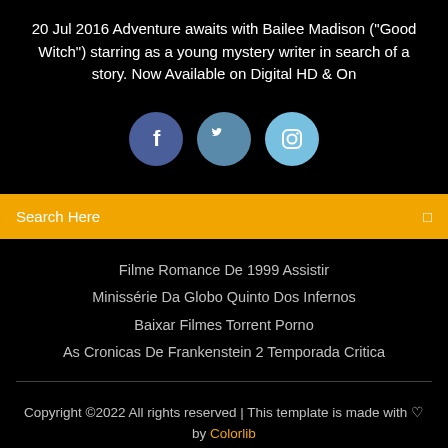20 Jul 2016 Adventure awaits with Bailee Madison ("Good Witch") starring as a young mystery writer in search of a story. Now Available on Digital HD & On
[Figure (illustration): Three social media icon circles: Facebook (dark blue), Twitter (medium blue), Instagram (light blue)]
Search Here
Filme Romance De 1999 Assistir
Minissérie Da Globo Quinto Dos Infernos
Baixar Filmes Torrent Porno
As Cronicas De Frankenstein 2 Temporada Critica
Copyright ©2022 All rights reserved | This template is made with ♡ by Colorlib